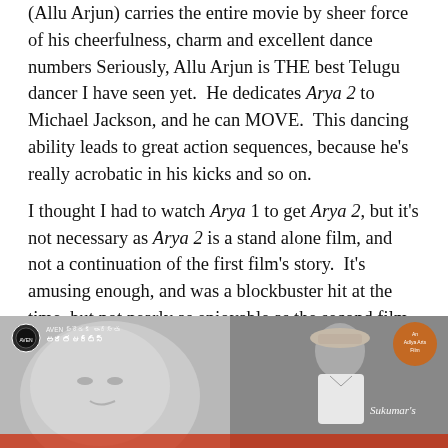(Allu Arjun) carries the entire movie by sheer force of his cheerfulness, charm and excellent dance numbers Seriously, Allu Arjun is THE best Telugu dancer I have seen yet.  He dedicates Arya 2 to Michael Jackson, and he can MOVE.  This dancing ability leads to great action sequences, because he's really acrobatic in his kicks and so on.
I thought I had to watch Arya 1 to get Arya 2, but it's not necessary as Arya 2 is a stand alone film, and not a continuation of the first film's story.  It's amusing enough, and was a blockbuster hit at the time, but not nearly as enjoyable as the second film.  The heroine is just so passive you want to scream, and the plot fairly regressive — except for Arya's selfless love.
[Figure (photo): Movie poster for Arya (Telugu film) featuring a grayscale image of a woman's face on the left and a man in a cap and white shirt on the right, with Telugu text in the top-left corner, circular logos/badges, and 'Sukumar's' text on the right side.]